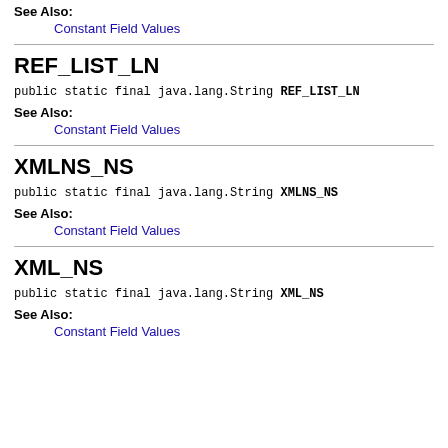See Also:
Constant Field Values
REF_LIST_LN
public static final java.lang.String REF_LIST_LN
See Also:
Constant Field Values
XMLNS_NS
public static final java.lang.String XMLNS_NS
See Also:
Constant Field Values
XML_NS
public static final java.lang.String XML_NS
See Also:
Constant Field Values